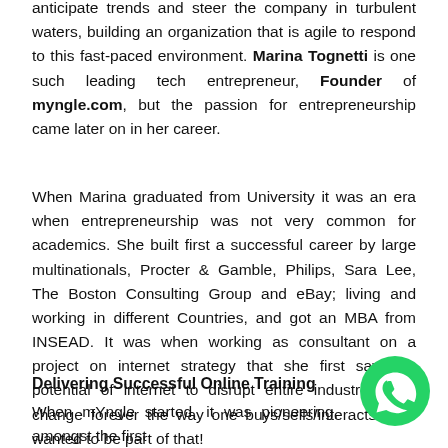anticipate trends and steer the company in turbulent waters, building an organization that is agile to respond to this fast-paced environment. Marina Tognetti is one such leading tech entrepreneur, Founder of myngle.com, but the passion for entrepreneurship came later on in her career.
When Marina graduated from University it was an era when entrepreneurship was not very common for academics. She built first a successful career by large multinationals, Procter & Gamble, Philips, Sara Lee, The Boston Consulting Group and eBay; living and working in different Countries, and got an MBA from INSEAD. It was when working as consultant on a project on internet strategy that she first saw the potential of internet to disrupt entire industries and change forever the way one buys/sells/interacts. She wanted to be part of that!
Delivering Successful Online Training
When mYngle started, it was pioneering, amongst the first
[Figure (illustration): WhatsApp chat button (green circle with white phone/chat icon)]